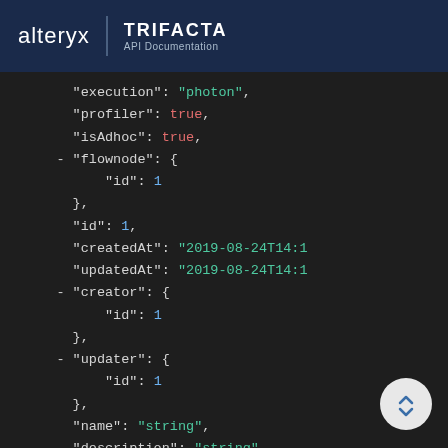alteryx | TRIFACTA API Documentation
[Figure (screenshot): JSON API response code block showing fields: execution: "photon", profiler: true, isAdhoc: true, flownode: { id: 1 }, id: 1, createdAt: "2019-08-24T14:1...", updatedAt: "2019-08-24T14:1...", creator: { id: 1 }, updater: { id: 1 }, name: "string", description: "string"]